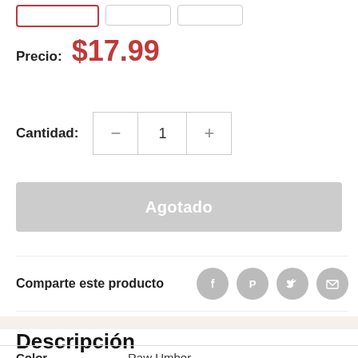[Figure (screenshot): Three selection buttons at top: one with red border (selected), two with grey borders]
Precio: $17.99
Cantidad: 1
Agotado
Comparte este producto
Descripción
| Color |  |
| --- | --- |
| Color | Raw Umber |